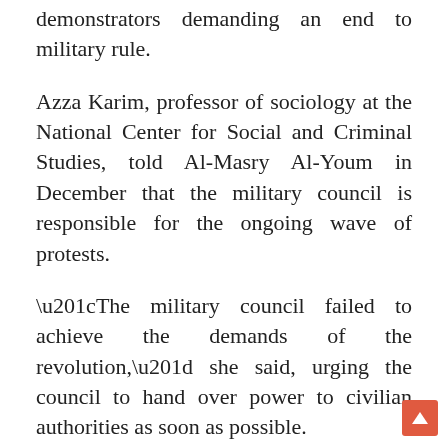demonstrators demanding an end to military rule.
Azza Karim, professor of sociology at the National Center for Social and Criminal Studies, told Al-Masry Al-Youm in December that the military council is responsible for the ongoing wave of protests.
“The military council failed to achieve the demands of the revolution,” she said, urging the council to hand over power to civilian authorities as soon as possible.
On 9 January, 54 political parties and movements called for country-wide protests on 25 January to demand a swift transfer of power from military to civilian authorities.